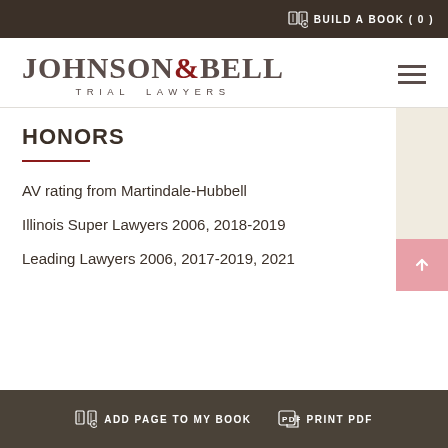BUILD A BOOK ( 0 )
[Figure (logo): Johnson & Bell Trial Lawyers logo with serif font and red ampersand]
HONORS
AV rating from Martindale-Hubbell
Illinois Super Lawyers 2006, 2018-2019
Leading Lawyers 2006, 2017-2019, 2021
ADD PAGE TO MY BOOK   PRINT PDF